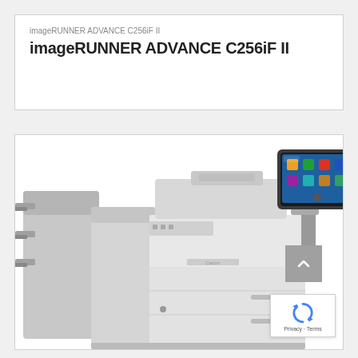imageRUNNER ADVANCE C256iF II
imageRUNNER ADVANCE C256iF II
[Figure (photo): Canon imageRUNNER ADVANCE C256iF II multifunction printer/copier shown from the front-left angle, with a finishing unit on the left side and a touchscreen control panel on the upper right. The machine is white/grey in color.]